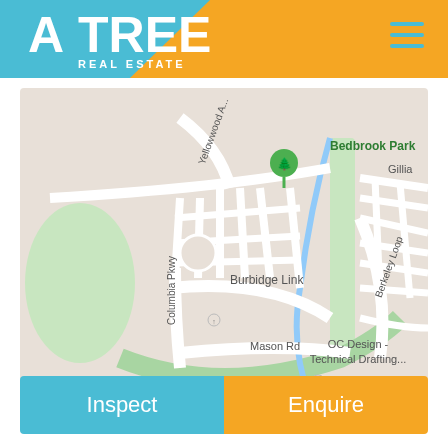[Figure (logo): Attree Real Estate logo with blue triangle and orange slash, white text]
[Figure (map): Google Maps screenshot showing Bedbrook Park area with streets: Yellowwood Ave, Columbia Pkwy, Burbidge Link, Mason Rd, Berkeley Loop, Gillia; green park area; OC Design - Technical Drafting label; location pin on Bedbrook Park]
Inspect
Enquire